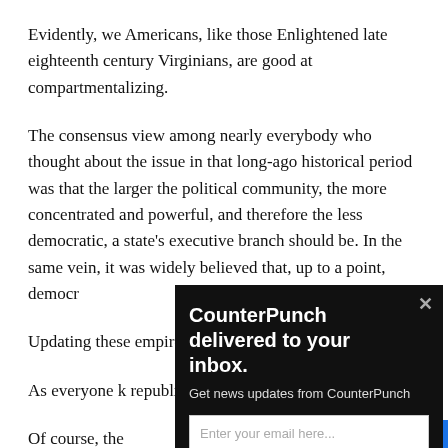Evidently, we Americans, like those Enlightened late eighteenth century Virginians, are good at compartmentalizing.
The consensus view among nearly everybody who thought about the issue in that long-ago historical period was that the larger the political community, the more concentrated and powerful, and therefore the less democratic, a state's executive branch should be. In the same vein, it was widely believed that, up to a point, democr…
Updating these… empires need… democracies d… weak.
As everyone k… republic, not a…
Of course, the…
[Figure (other): CounterPunch email newsletter signup popup overlay with dark background, title 'CounterPunch delivered to your inbox.', subtitle 'Get news updates from CounterPunch', email input field, and orange Sign Up button]